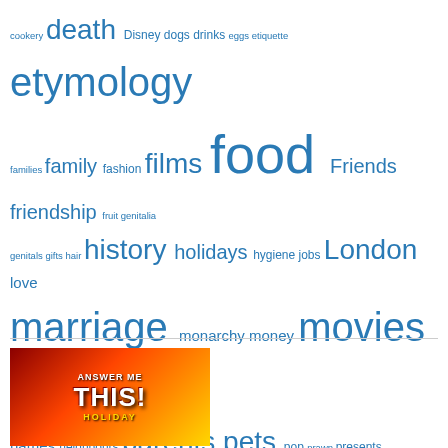[Figure (infographic): A tag cloud of topic words in varying sizes, all in blue, on a white background. Words include: cookery, death, Disney, dogs, drinks, eggs, etiquette, etymology, families, family, fashion, films, food, Friends, friendship, fruit, genitalia, genitals, gifts, hair, history, holidays, hygiene, jobs, London, love, marriage, monarchy, money, movies, music, musicals, names, neighbours, parents, pets, pop, prawn, presents, relationships, religion, restaurants, romance, royalty, school, sex, shopping, songs, sport, Squarespace, telly, theatre, the Queen, Thursday Listening Party, toys, TV, USA, weddings, yuk]
[Figure (photo): An advertisement image for 'Answer Me This! Holiday' podcast, showing a tropical sunset background with the text 'ANSWER ME THIS!' and 'HOLIDAY' in bold white/yellow text.]